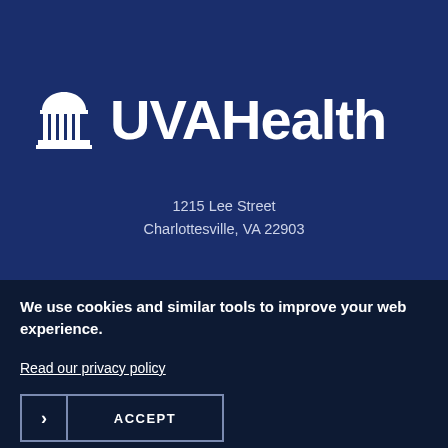[Figure (logo): UVA Health logo with Rotunda building icon and text 'UVAHealth' in white on dark navy blue background]
1215 Lee Street
Charlottesville, VA 22903
We use cookies and similar tools to improve your web experience.
Read our privacy policy
> ACCEPT